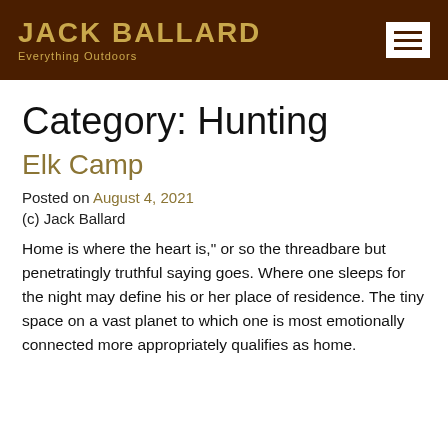JACK BALLARD Everything Outdoors
Category: Hunting
Elk Camp
Posted on August 4, 2021
(c) Jack Ballard
Home is where the heart is," or so the threadbare but penetratingly truthful saying goes. Where one sleeps for the night may define his or her place of residence. The tiny space on a vast planet to which one is most emotionally connected more appropriately qualifies as home.